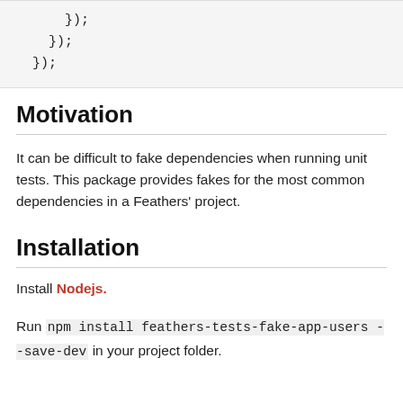[Figure (screenshot): Code block showing closing brackets: }); on three lines with increasing indentation from right to left.]
Motivation
It can be difficult to fake dependencies when running unit tests. This package provides fakes for the most common dependencies in a Feathers' project.
Installation
Install Nodejs.
Run npm install feathers-tests-fake-app-users --save-dev in your project folder.